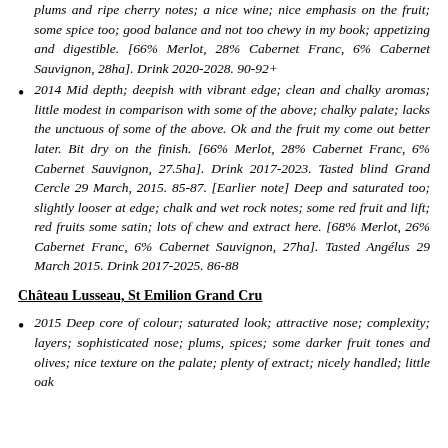plums and ripe cherry notes; a nice wine; nice emphasis on the fruit; some spice too; good balance and not too chewy in my book; appetizing and digestible. [66% Merlot, 28% Cabernet Franc, 6% Cabernet Sauvignon, 28ha]. Drink 2020-2028. 90-92+
2014 Mid depth; deepish with vibrant edge; clean and chalky aromas; little modest in comparison with some of the above; chalky palate; lacks the unctuous of some of the above. Ok and the fruit my come out better later. Bit dry on the finish. [66% Merlot, 28% Cabernet Franc, 6% Cabernet Sauvignon, 27.5ha]. Drink 2017-2023. Tasted blind Grand Cercle 29 March, 2015. 85-87. [Earlier note] Deep and saturated too; slightly looser at edge; chalk and wet rock notes; some red fruit and lift; red fruits some satin; lots of chew and extract here. [68% Merlot, 26% Cabernet Franc, 6% Cabernet Sauvignon, 27ha]. Tasted Angélus 29 March 2015. Drink 2017-2025. 86-88
Château Lusseau, St Emilion Grand Cru
2015 Deep core of colour; saturated look; attractive nose; complexity; layers; sophisticated nose; plums, spices; some darker fruit tones and olives; nice texture on the palate; plenty of extract; nicely handled; little oak